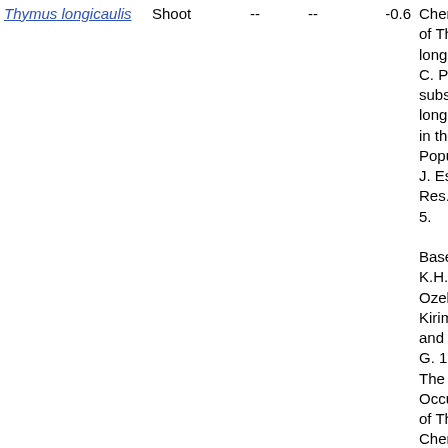| Species | Plant part |  |  | Value | Reference |
| --- | --- | --- | --- | --- | --- |
| Thymus longicaulis | Shoot | -- | -- | -0.6 | Chem of Thy longic C. Pre subsp longic in the Popul J. Ess Res. 5 5. |
|  |  |  |  |  | Baser, K.H.C Ozek, Kirim and Ty G. 199 The Occur of Thr Chem of Thy longic C. Pre subsp |
| Thymus longicaulis | Shoot | -- | -- | -0.6 | Chem of Thy longic C. Pre subsp |